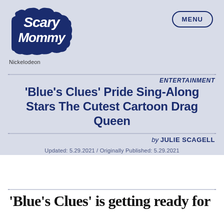[Figure (logo): Scary Mommy logo — stylized white script on dark navy cloud shape]
Nickelodeon
MENU
ENTERTAINMENT
'Blue's Clues' Pride Sing-Along Stars The Cutest Cartoon Drag Queen
by JULIE SCAGELL
Updated: 5.29.2021 / Originally Published: 5.29.2021
‘Blue’s Clues’ is getting ready for